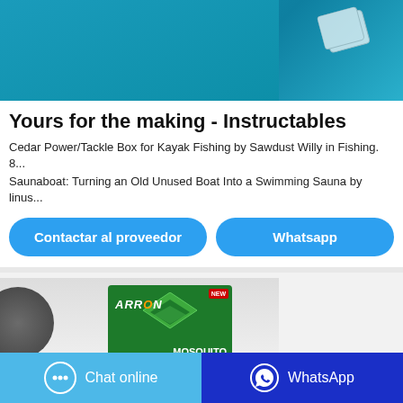[Figure (screenshot): Top partial screenshot showing teal/turquoise background with playing cards partially visible]
Yours for the making - Instructables
Cedar Power/Tackle Box for Kayak Fishing by Sawdust Willy in Fishing. 8...
Saunaboat: Turning an Old Unused Boat Into a Swimming Sauna by linus...
[Figure (screenshot): Button: Contactar al proveedor (blue rounded button)]
[Figure (screenshot): Button: Whatsapp (blue rounded button, partially visible)]
[Figure (photo): Product image showing Arrow Mosquito Coils green box with diamond logo and NEW badge, on light gray background]
[Figure (screenshot): Bottom bar with Chat online button (light blue) and WhatsApp button (dark blue)]